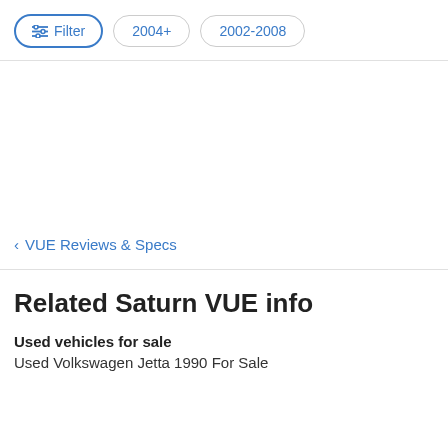Filter  2004+  2002-2008
< VUE Reviews & Specs
Related Saturn VUE info
Used vehicles for sale
Used Volkswagen Jetta 1990 For Sale